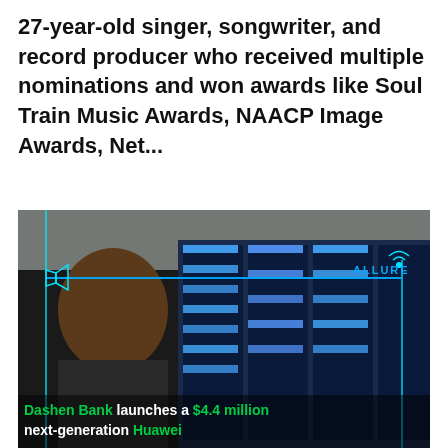27-year-old singer, songwriter, and record producer who received multiple nominations and won awards like Soul Train Music Awards, NAACP Image Awards, Net...
[Figure (photo): A man smiling at illuminated server racks (Huawei data center equipment), with cyan/teal annotation lines and an 'ALLURE' label overlay with a WiFi-like icon. Text overlay reads: 'Dashen Bank launches a $4.4 million next-generation Huawei']